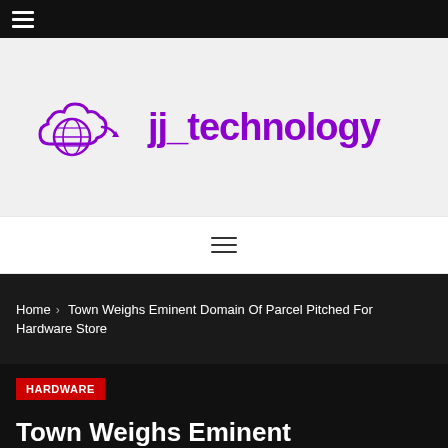☰ (hamburger menu icon)
[Figure (logo): jj_technology logo with purple cloud and globe icon and purple wordmark text 'jj_technology']
☰ (navigation hamburger menu)
Home > Town Weighs Eminent Domain Of Parcel Pitched For Hardware Store
HARDWARE
Town Weighs Eminent